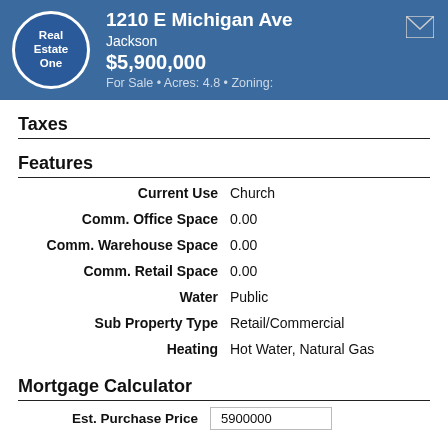1210 E Michigan Ave
Jackson
$5,900,000
For Sale • Acres: 4.8 • Zoning:
Taxes
Features
| Field | Value |
| --- | --- |
| Current Use | Church |
| Comm. Office Space | 0.00 |
| Comm. Warehouse Space | 0.00 |
| Comm. Retail Space | 0.00 |
| Water | Public |
| Sub Property Type | Retail/Commercial |
| Heating | Hot Water, Natural Gas |
Mortgage Calculator
Est. Purchase Price 5900000